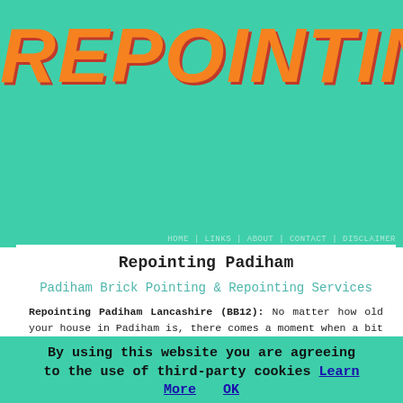REPOINTING
HOME | LINKS | ABOUT | CONTACT | DISCLAIMER
Repointing Padiham
Padiham Brick Pointing & Repointing Services
Repointing Padiham Lancashire (BB12): No matter how old your house in Padiham is, there comes a moment when a bit of maintenance is required. If you've spotted that the mortar or cement between the bricks on your Padiham house is cracking or crumbling, you will need expert help to prevent the problem from deteriorating further. A reliable brick repointing contractor in Padiham will provide an effective solution to repair your brickwork and keep it watertight.
By using this website you are agreeing to the use of third-party cookies Learn More OK